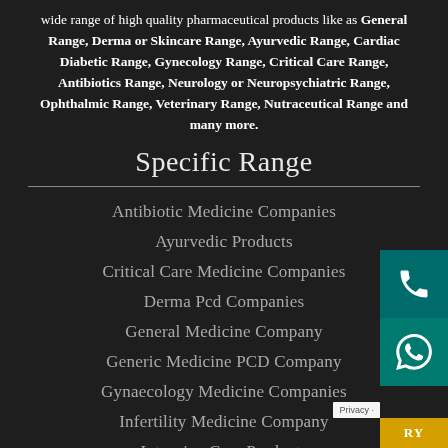wide range of high quality pharmaceutical products like as General Range, Derma or Skincare Range, Ayurvedic Range, Cardiac Diabetic Range, Gynecology Range, Critical Care Range, Antibiotics Range, Neurology or Neuropsychiatric Range, Ophthalmic Range, Veterinary Range, Nutraceutical Range and many more.
Specific Range
Antibiotic Medicine Companies
Ayurvedic Products
Critical Care Medicine Companies
Derma Pcd Companies
General Medicine Company
Generic Medicine PCD Company
Gynaecology Medicine Companies
Infertility Medicine Company
Intensive Care Products